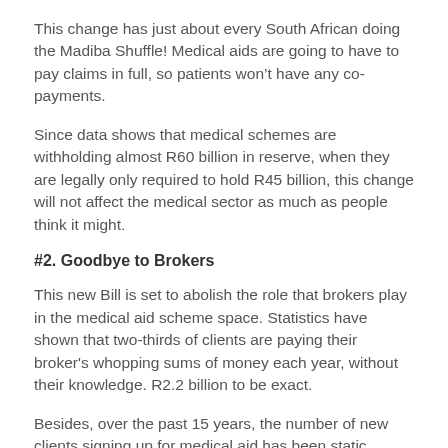This change has just about every South African doing the Madiba Shuffle! Medical aids are going to have to pay claims in full, so patients won’t have any co-payments.
Since data shows that medical schemes are withholding almost R60 billion in reserve, when they are legally only required to hold R45 billion, this change will not affect the medical sector as much as people think it might.
#2. Goodbye to Brokers
This new Bill is set to abolish the role that brokers play in the medical aid scheme space. Statistics have shown that two-thirds of clients are paying their broker's whopping sums of money each year, without their knowledge. R2.2 billion to be exact.
Besides, over the past 15 years, the number of new clients signing up for medical aid has been static, which has brought into question how necessary brokers are in this sector.